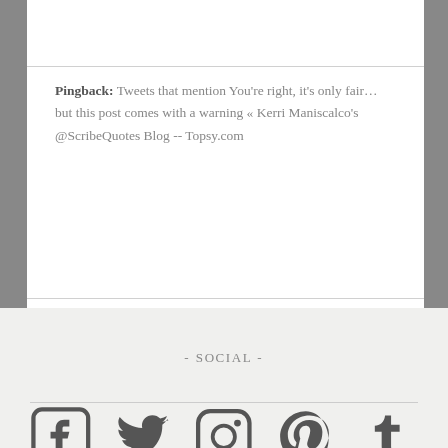Pingback: Tweets that mention You're right, it's only fair... but this post comes with a warning « Kerri Maniscalco's @ScribeQuotes Blog -- Topsy.com
Comments are closed.
- Social -
[Figure (infographic): Social media icons: Facebook, Twitter, Instagram, Pinterest, Tumblr]